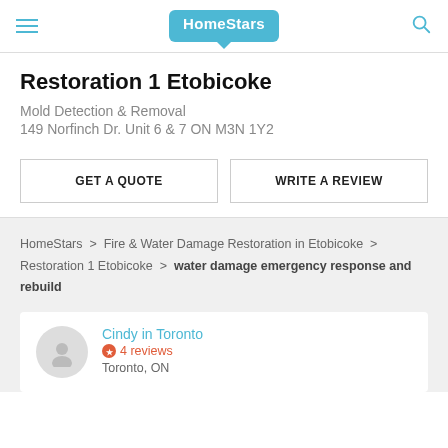HomeStars
Restoration 1 Etobicoke
Mold Detection & Removal
149 Norfinch Dr. Unit 6 & 7 ON M3N 1Y2
GET A QUOTE   WRITE A REVIEW
HomeStars > Fire & Water Damage Restoration in Etobicoke > Restoration 1 Etobicoke > water damage emergency response and rebuild
Cindy in Toronto
4 reviews
Toronto, ON